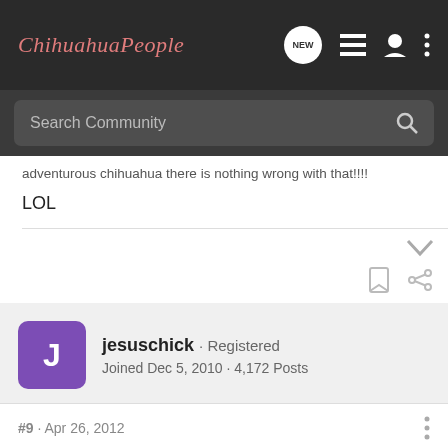ChihuahuaPeople
Search Community
adventurous chihuahua there is nothing wrong with that!!!!
LOL
jesuschick · Registered
Joined Dec 5, 2010 · 4,172 Posts
#9 · Apr 26, 2012